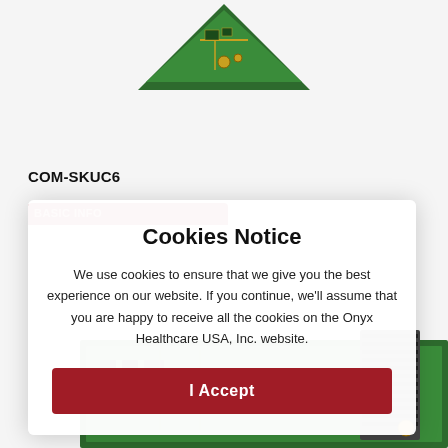[Figure (photo): PCB circuit board / computer-on-module hardware shown partially at top and bottom of page behind a modal overlay. A green triangular module is visible at the top. A larger green PCB with connectors and components is visible at the bottom right.]
COM-SKUC6
BASIC INFO
Cookies Notice
We use cookies to ensure that we give you the best experience on our website. If you continue, we'll assume that you are happy to receive all the cookies on the Onyx Healthcare USA, Inc. website.
I Accept